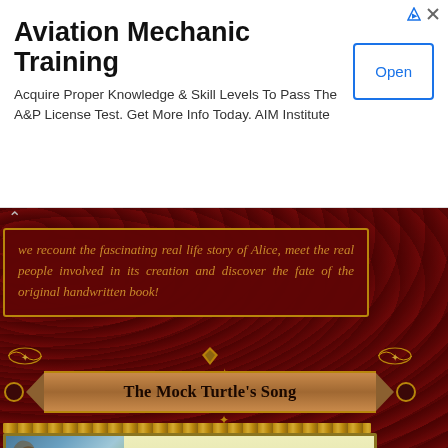Aviation Mechanic Training
Acquire Proper Knowledge & Skill Levels To Pass The A&P License Test. Get More Info Today. AIM Institute
we recount the fascinating real life story of Alice, meet the real people involved in its creation and discover the fate of the original handwritten book!
The Mock Turtle's Song
[Figure (illustration): Book cover illustration showing Alice with the Mock Turtle and Gryphon, with title text 'The Mock Turtle's Song Or The Lobster-Quadrille']